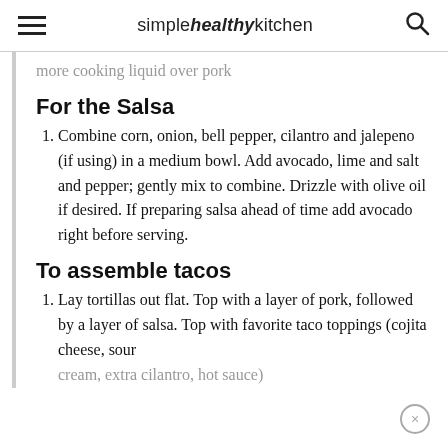simple healthy kitchen
more cooking liquid over pork
For the Salsa
Combine corn, onion, bell pepper, cilantro and jalepeno (if using) in a medium bowl. Add avocado, lime and salt and pepper; gently mix to combine. Drizzle with olive oil if desired. If preparing salsa ahead of time add avocado right before serving.
To assemble tacos
Lay tortillas out flat. Top with a layer of pork, followed by a layer of salsa. Top with favorite taco toppings (cojita cheese, sour
cream, extra cilantro, hot sauce)